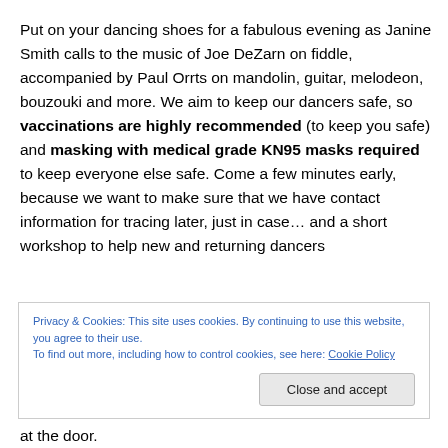Put on your dancing shoes for a fabulous evening as Janine Smith calls to the music of Joe DeZarn on fiddle, accompanied by Paul Orrts on mandolin, guitar, melodeon, bouzouki and more. We aim to keep our dancers safe, so vaccinations are highly recommended (to keep you safe) and masking with medical grade KN95 masks required to keep everyone else safe. Come a few minutes early, because we want to make sure that we have contact information for tracing later, just in case… and a short workshop to help new and returning dancers
Privacy & Cookies: This site uses cookies. By continuing to use this website, you agree to their use. To find out more, including how to control cookies, see here: Cookie Policy
at the door.